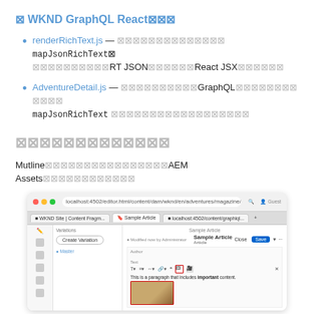⊠ WKND GraphQL React⊠⊠⊠
renderRichText.js — ⊠⊠⊠⊠⊠⊠⊠⊠⊠⊠⊠⊠⊠⊠ mapJsonRichText⊠ ⊠⊠⊠⊠⊠⊠⊠⊠⊠⊠RT JSON⊠⊠⊠⊠⊠⊠React JSX⊠⊠⊠⊠⊠⊠
AdventureDetail.js — ⊠⊠⊠⊠⊠⊠⊠⊠⊠⊠GraphQL⊠⊠⊠⊠⊠⊠⊠⊠ ⊠⊠⊠⊠ mapJsonRichText ⊠⊠⊠⊠⊠⊠⊠⊠⊠⊠⊠⊠⊠⊠⊠⊠⊠⊠
⊠⊠⊠⊠⊠⊠⊠⊠⊠⊠⊠⊠⊠
Mutline⊠⊠⊠⊠⊠⊠⊠⊠⊠⊠⊠⊠⊠⊠⊠⊠AEM Assets⊠⊠⊠⊠⊠⊠⊠⊠⊠⊠⊠⊠
[Figure (screenshot): Browser screenshot showing WKND Content Fragments editor with Sample Article open, displaying rich text editor with an image placeholder and bold text annotation.]